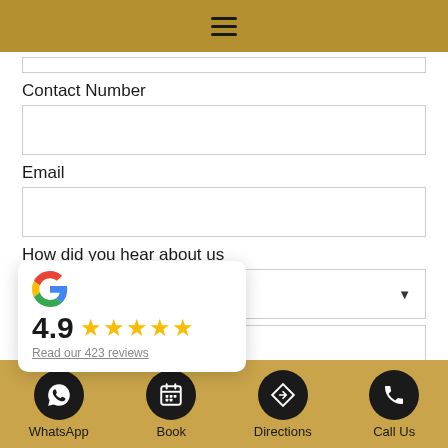[Figure (screenshot): Gold top navigation bar with hamburger menu icon]
Contact Number
Email
How did you hear about us
[Figure (infographic): Google review popup showing 4.9 rating with 5 gold stars and link 'Read our 423 reviews']
[Figure (screenshot): Gold bottom navigation bar with WhatsApp, Book, Directions, and Call Us buttons]